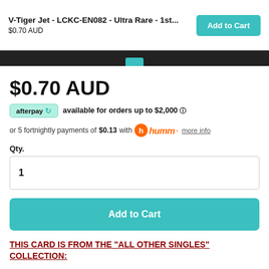V-Tiger Jet - LCKC-EN082 - Ultra Rare - 1st... $0.70 AUD
$0.70 AUD
afterpay available for orders up to $2,000 ⓘ
or 5 fortnightly payments of $0.13 with humm more info
Qty.
1
Add to Cart
THIS CARD IS FROM THE "ALL OTHER SINGLES" COLLECTION: